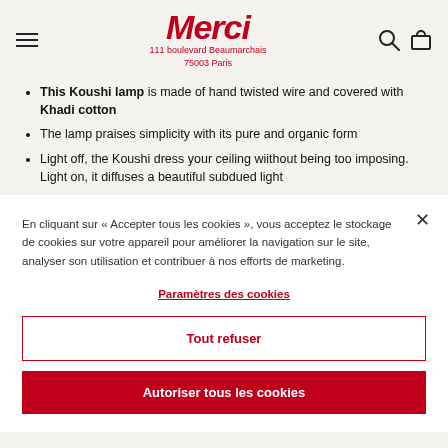Merci
111 boulevard Beaumarchais
75003 Paris
This Koushi lamp is made of hand twisted wire and covered with Khadi cotton
The lamp praises simplicity with its pure and organic form
Light off, the Koushi dress your ceiling wiithout being too imposing. Light on, it diffuses a beautiful subdued light
En cliquant sur « Accepter tous les cookies », vous acceptez le stockage de cookies sur votre appareil pour améliorer la navigation sur le site, analyser son utilisation et contribuer à nos efforts de marketing.
Paramètres des cookies
Tout refuser
Autoriser tous les cookies